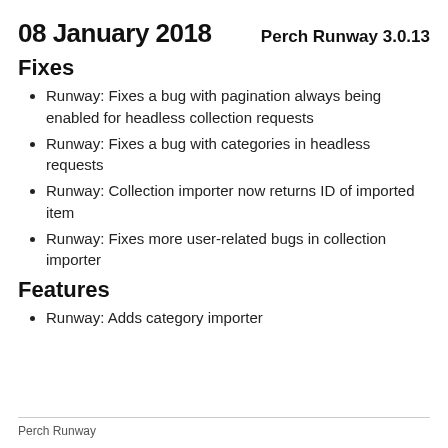08 January 2018
Perch Runway 3.0.13
Fixes
Runway: Fixes a bug with pagination always being enabled for headless collection requests
Runway: Fixes a bug with categories in headless requests
Runway: Collection importer now returns ID of imported item
Runway: Fixes more user-related bugs in collection importer
Features
Runway: Adds category importer
Perch Runway